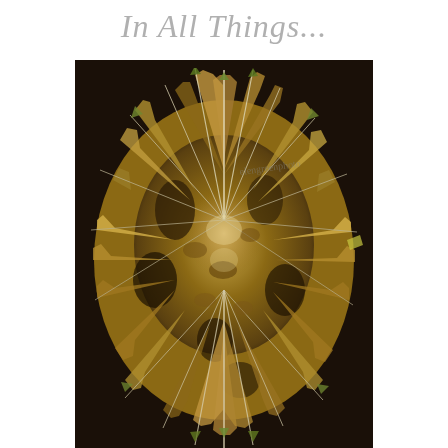In All Things...
[Figure (photo): Close-up overhead photograph of a palm plant or similar tropical plant with dried, splaying fronds and leaves in shades of brown, cream, and green, viewed from above in what appears to be a dark container or pot. A faint watermark 'elengreenphotos' is visible in the upper left area of the photo.]